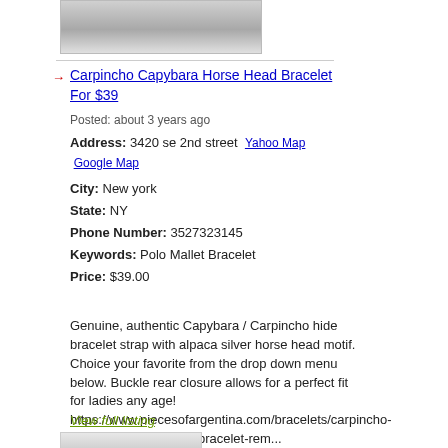[Figure (photo): Partial product photo of a bracelet/necklace with dark cord and silver ends]
Carpincho Capybara Horse Head Bracelet For $39
Posted: about 3 years ago
Address: 3420 se 2nd street  Yahoo Map  Google Map
City: New york
State: NY
Phone Number: 3527323145
Keywords: Polo Mallet Bracelet
Price: $39.00
Genuine, authentic Capybara / Carpincho hide bracelet strap with alpaca silver horse head motif. Choice your favorite from the drop down menu below. Buckle rear closure allows for a perfect fit for ladies any age! https://www.piecesofargentina.com/bracelets/carpincho-capybara-horse-head-bracelet-rem...
View full listing
[Figure (photo): Partial product photo at the bottom of the page]